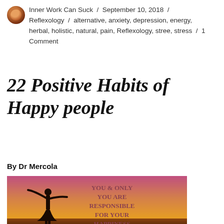Inner Work Can Suck / September 10, 2018 / Reflexology / alternative, anxiety, depression, energy, herbal, holistic, natural, pain, Reflexology, stree, stress / 1 Comment
22 Positive Habits of Happy people
By Dr Mercola
[Figure (photo): Silhouette of a person with arms outstretched against a warm sunset sky, with text overlay reading: YOU & ONLY YOU ARE RESPONSIBLE FOR YOUR HAPPINESS]